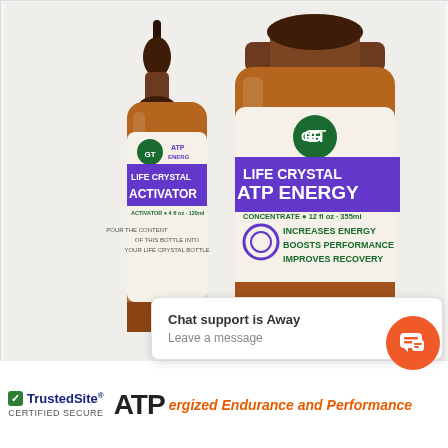[Figure (photo): Two amber glass supplement bottles with GT Life Crystal branding. Left smaller dropper bottle labeled 'LIFE CRYSTAL ACTIVATOR' with purple band. Right larger bottle labeled 'LIFE CRYSTAL ATP ENERGY CONCENTRATE 12 fl oz' with purple band, green GT logo, and text: INCREASES ENERGY BOOSTS PERFORMANCE IMPROVES RECOVERY.]
Chat support is Away
Leave a message
ATP  ergized Endurance and Performance
[Figure (logo): TrustedSite Certified Secure badge with green checkmark]